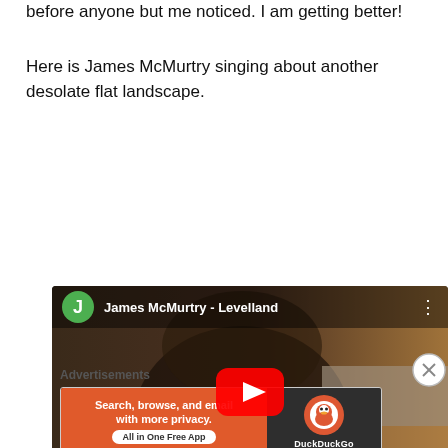before anyone but me noticed. I am getting better!
Here is James McMurtry singing about another desolate flat landscape.
[Figure (screenshot): YouTube video thumbnail for James McMurtry - Levelland, showing a bearded man with round glasses and a wide-brimmed hat against a dusty landscape background. Features the Vevo logo in the bottom left, a red play button in the center, and the channel icon 'J' in green circle with title 'James McMurtry - Levelland' at top.]
Advertisements
[Figure (screenshot): DuckDuckGo advertisement banner. Left side orange with text 'Search, browse, and email with more privacy. All in One Free App'. Right side dark with DuckDuckGo logo.]